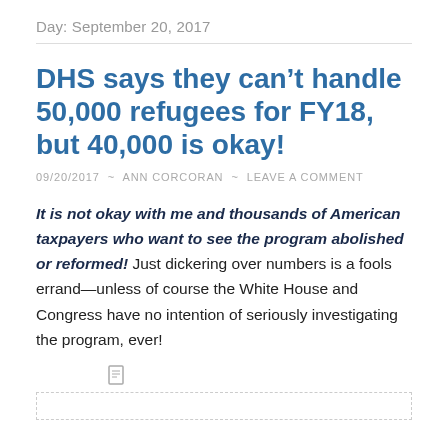Day: September 20, 2017
DHS says they can't handle 50,000 refugees for FY18, but 40,000 is okay!
09/20/2017 ~ ANN CORCORAN ~ LEAVE A COMMENT
It is not okay with me and thousands of American taxpayers who want to see the program abolished or reformed! Just dickering over numbers is a fools errand—unless of course the White House and Congress have no intention of seriously investigating the program, ever!